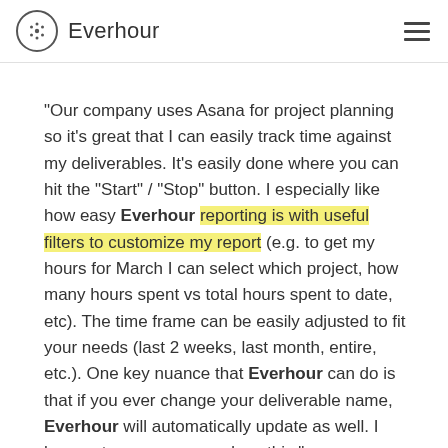Everhour
"Our company uses Asana for project planning so it's great that I can easily track time against my deliverables. It's easily done where you can hit the "Start" / "Stop" button. I especially like how easy Everhour reporting is with useful filters to customize my report (e.g. to get my hours for March I can select which project, how many hours spent vs total hours spent to date, etc). The time frame can be easily adjusted to fit your needs (last 2 weeks, last month, entire, etc.). One key nuance that Everhour can do is that if you ever change your deliverable name, Everhour will automatically update as well. I hear not every program does this."